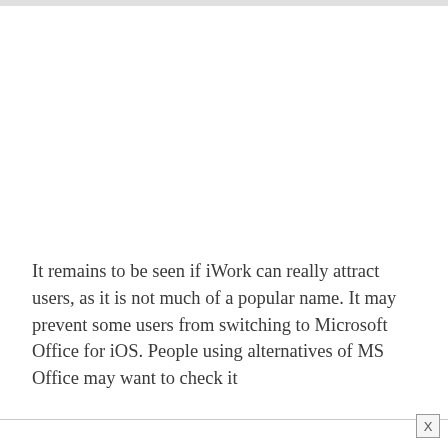It remains to be seen if iWork can really attract users, as it is not much of a popular name. It may prevent some users from switching to Microsoft Office for iOS. People using alternatives of MS Office may want to check it